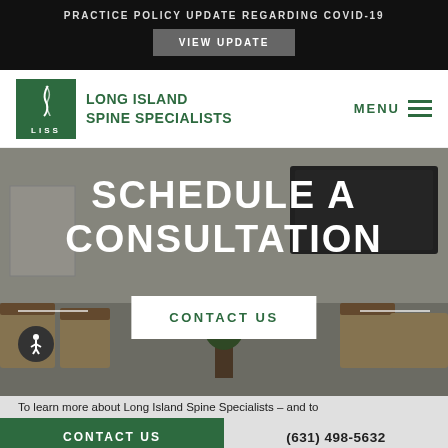PRACTICE POLICY UPDATE REGARDING COVID-19
VIEW UPDATE
LONG ISLAND SPINE SPECIALISTS
MENU
[Figure (photo): Waiting room of Long Island Spine Specialists with chairs and a mounted TV, overlaid with text SCHEDULE A CONSULTATION and a CONTACT US button]
To learn more about Long Island Spine Specialists – and to
CONTACT US | (631) 498-5632